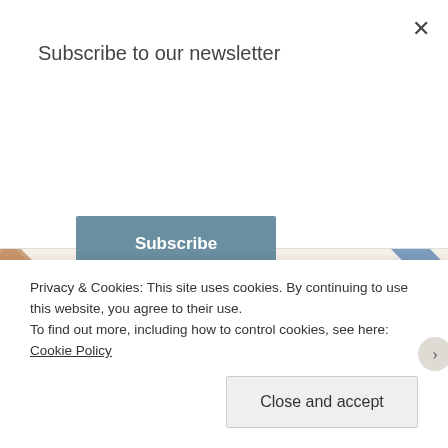Subscribe to our newsletter
Subscribe
Email *
Website
Privacy & Cookies: This site uses cookies. By continuing to use this website, you agree to their use.
To find out more, including how to control cookies, see here: Cookie Policy
Close and accept